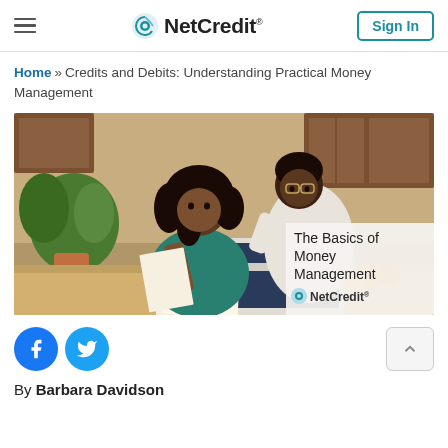NetCredit — Sign In
Home » Credits and Debits: Understanding Practical Money Management
[Figure (photo): Couple looking at financial documents on a laptop, with overlay text: The Basics of Money Management — NetCredit]
By Barbara Davidson